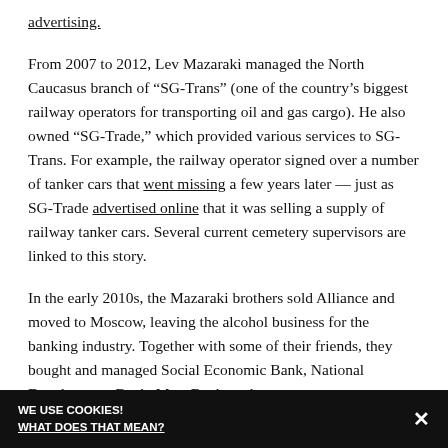advertising.
From 2007 to 2012, Lev Mazaraki managed the North Caucasus branch of “SG-Trans” (one of the country’s biggest railway operators for transporting oil and gas cargo). He also owned “SG-Trade,” which provided various services to SG-Trans. For example, the railway operator signed over a number of tanker cars that went missing a few years later — just as SG-Trade advertised online that it was selling a supply of railway tanker cars. Several current cemetery supervisors are linked to this story.
In the early 2010s, the Mazaraki brothers sold Alliance and moved to Moscow, leaving the alcohol business for the banking industry. Together with some of their friends, they bought and managed Social Economic Bank, National Development Bank, Mast Bank, and
WE USE COOKIES! WHAT DOES THAT MEAN?